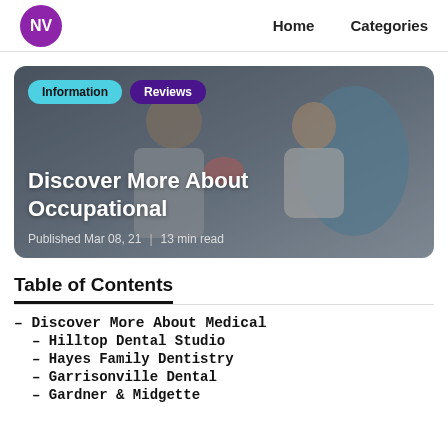NV  Home  Categories
[Figure (photo): Dental professional in mask and pink gloves interacting with a young girl patient in a dental chair. Badges: Information, Reviews. Title: Discover More About Occupational. Published Mar 08, 21 | 13 min read]
Table of Contents
– Discover More About Medical
– Hilltop Dental Studio
– Hayes Family Dentistry
– Garrisonville Dental
– Gardner & Midgette